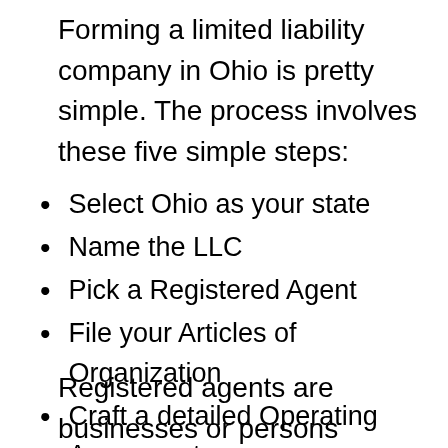Forming a limited liability company in Ohio is pretty simple. The process involves these five simple steps:
Select Ohio as your state
Name the LLC
Pick a Registered Agent
File your Articles of Organization
Craft a detailed Operating Agreement
How do you select a registered agent?
Registered agents are businesses or persons nominated to obtain and send out legal